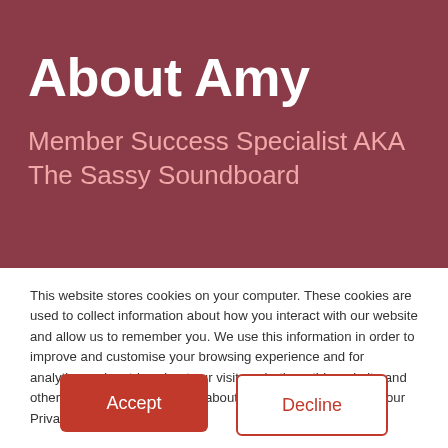About Amy
Member Success Specialist AKA The Sassy Soundboard
This website stores cookies on your computer. These cookies are used to collect information about how you interact with our website and allow us to remember you. We use this information in order to improve and customise your browsing experience and for analytics and metrics about our visitors, both on this website and other media. To find out more about the cookies we use, see our Privacy Notice.
Accept
Decline